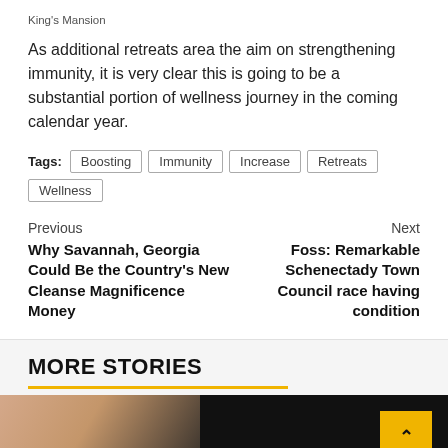King's Mansion
As additional retreats area the aim on strengthening immunity, it is very clear this is going to be a substantial portion of wellness journey in the coming calendar year.
Tags: Boosting | Immunity | Increase | Retreats | Wellness
Previous
Why Savannah, Georgia Could Be the Country's New Cleanse Magnificence Money
Next
Foss: Remarkable Schenectady Town Council race having condition
MORE STORIES
[Figure (photo): Partial photo of a woman's face and shoulder against a dark background, with a yellow back-to-top button in the top-right corner]